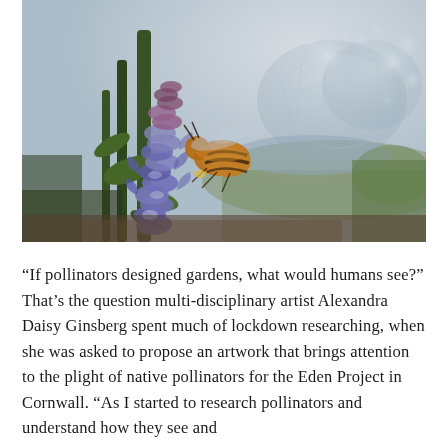[Figure (photo): Close-up photograph of a bee (bumblebee with orange-brown fuzzy body) on purple/blue spiky flowers (possibly ajuga or similar), with a blurred background showing what appears to be the geodesic dome structures of the Eden Project in Cornwall and greenery.]
“If pollinators designed gardens, what would humans see?” That’s the question multi-disciplinary artist Alexandra Daisy Ginsberg spent much of lockdown researching, when she was asked to propose an artwork that brings attention to the plight of native pollinators for the Eden Project in Cornwall. “As I started to research pollinators and understand how they see and